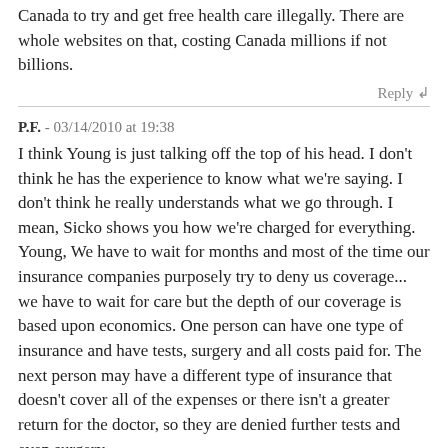Canada to try and get free health care illegally. There are whole websites on that, costing Canada millions if not billions.
Reply
P.F. - 03/14/2010 at 19:38
I think Young is just talking off the top of his head. I don't think he has the experience to know what we're saying. I don't think he really understands what we go through. I mean, Sicko shows you how we're charged for everything. Young, We have to wait for months and most of the time our insurance companies purposely try to deny us coverage... we have to wait for care but the depth of our coverage is based upon economics. One person can have one type of insurance and have tests, surgery and all costs paid for. The next person may have a different type of insurance that doesn't cover all of the expenses or there isn't a greater return for the doctor, so they are denied further tests and even surgery.